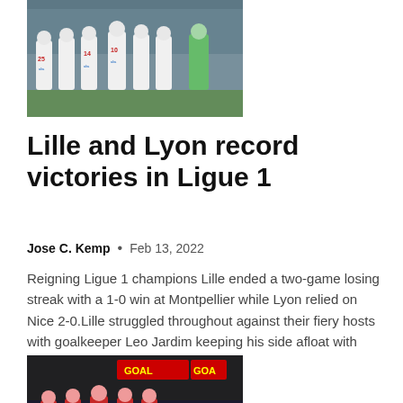[Figure (photo): Soccer players in white jerseys with numbers 25, 14, 10 celebrating on a field, with a goalkeeper in green in the background]
Lille and Lyon record victories in Ligue 1
Jose C. Kemp  •  Feb 13, 2022
Reigning Ligue 1 champions Lille ended a two-game losing streak with a 1-0 win at Montpellier while Lyon relied on Nice 2-0.Lille struggled throughout against their fiery hosts with goalkeeper Leo Jardim keeping his side afloat with four...
[Figure (photo): Liverpool players in red jerseys celebrating a goal, with a GOAL scoreboard display visible in the background and crowd in the stands]